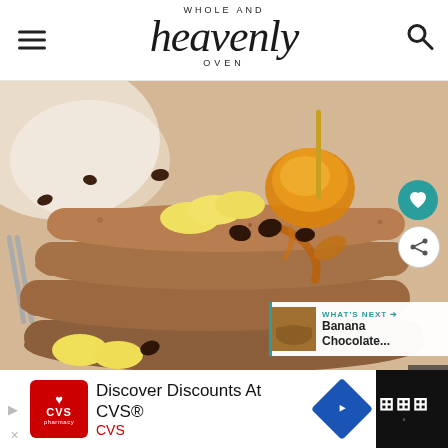Whole and Heavenly Oven
[Figure (photo): Stack of chocolate banana pancakes topped with banana slices and chocolate chips drizzled with honey/syrup, served on a white plate with a fork visible on the left side]
WHAT'S NEXT → Banana Chocolate...
Discover Discounts At CVS® CVS